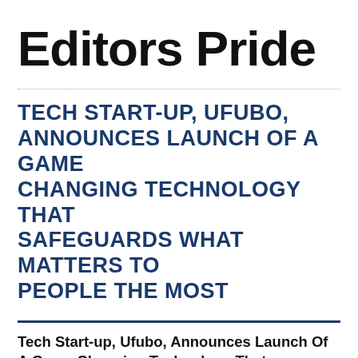Editors Pride
TECH START-UP, UFUBO, ANNOUNCES LAUNCH OF A GAME CHANGING TECHNOLOGY THAT SAFEGUARDS WHAT MATTERS TO PEOPLE THE MOST
Tech Start-up, Ufubo, Announces Launch Of A Game Changing Technology That Safeguards What Matters To People The Most